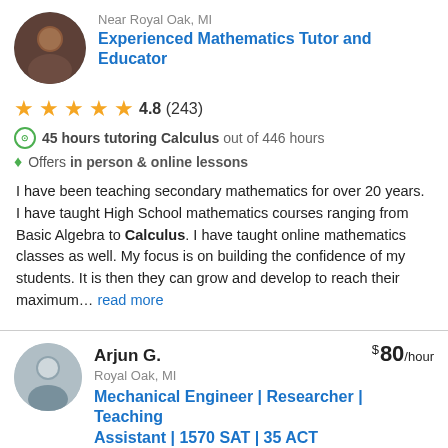Near Royal Oak, MI
Experienced Mathematics Tutor and Educator
4.8 (243)
45 hours tutoring Calculus out of 446 hours
Offers in person & online lessons
I have been teaching secondary mathematics for over 20 years. I have taught High School mathematics courses ranging from Basic Algebra to Calculus. I have taught online mathematics classes as well. My focus is on building the confidence of my students. It is then they can grow and develop to reach their maximum... read more
Arjun G.
$80/hour
Royal Oak, MI
Mechanical Engineer | Researcher | Teaching Assistant | 1570 SAT | 35 ACT